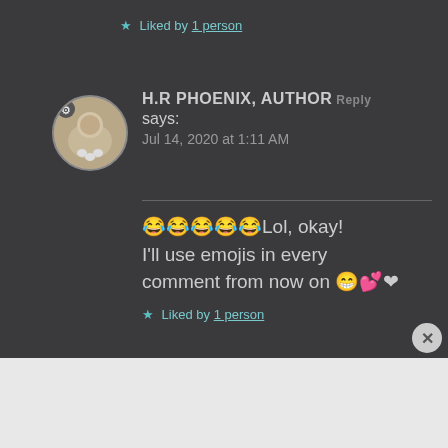★ Liked by 1 person
[Figure (photo): Circular avatar photo showing a cat or animal being held, with a small badge icon]
H.R PHOENIX, AUTHOR says: Jul 14, 2020 at 1:11 AM
😂😂😂😂😂Lol, okay! I'll use emojis in every comment from now on 😁💕❤
★ Liked by 1 person
[Figure (screenshot): WooCommerce advertisement banner: 'How to start selling subscriptions online']